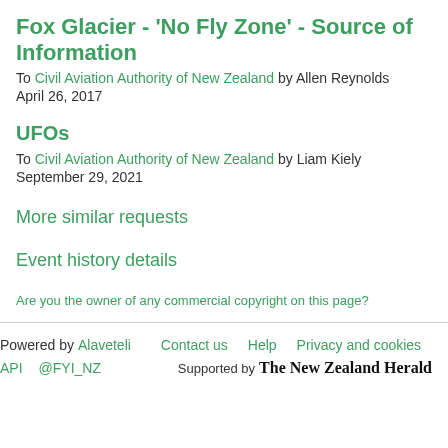Fox Glacier - 'No Fly Zone' - Source of Information
To Civil Aviation Authority of New Zealand by Allen Reynolds
April 26, 2017
UFOs
To Civil Aviation Authority of New Zealand by Liam Kiely
September 29, 2021
More similar requests
Event history details
Are you the owner of any commercial copyright on this page?
Powered by Alaveteli   Contact us   Help   Privacy and cookies
API   @FYI_NZ   Supported by The New Zealand Herald